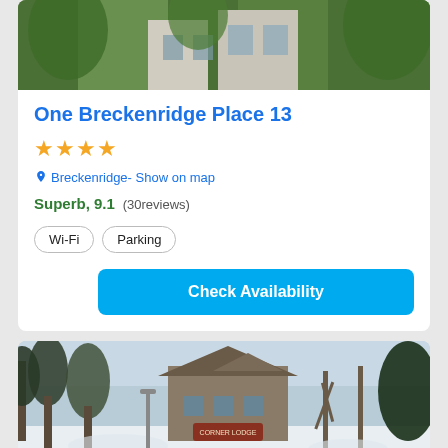[Figure (photo): Exterior photo of One Breckenridge Place 13 showing green trees and building facade]
One Breckenridge Place 13
★★★★
Breckenridge- Show on map
Superb, 9.1 (30reviews)
Wi-Fi
Parking
Check Availability
[Figure (photo): Winter exterior photo of a lodge building with snow-covered trees and a sign reading Corner Lodge]